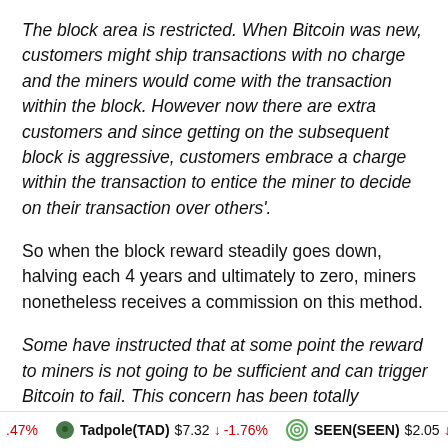The block area is restricted. When Bitcoin was new, customers might ship transactions with no charge and the miners would come with the transaction within the block. However now there are extra customers and since getting on the subsequent block is aggressive, customers embrace a charge within the transaction to entice the miner to decide on their transaction over others'.
So when the block reward steadily goes down, halving each 4 years and ultimately to zero, miners nonetheless receives a commission on this method.
Some have instructed that at some point the reward to miners is not going to be sufficient and can trigger Bitcoin to fail. This concern has been totally debunked and I gained't repeat it right here.
.47%   Tadpole(TAD) $7.32 ↓ -1.76%   SEEN(SEEN) $2.05 ↓ -